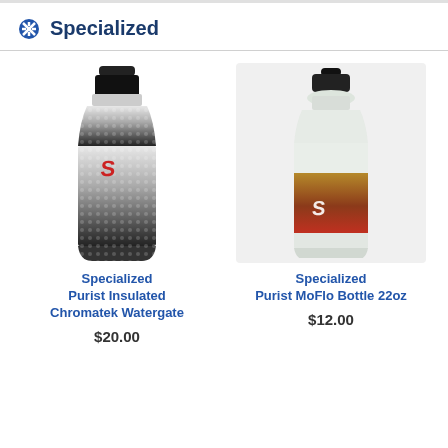Specialized
[Figure (photo): Specialized Purist Insulated Chromatek Watergate water bottle with black top and dark dot pattern fading from grey to black]
Specialized
Purist Insulated
Chromatek Watergate
$20.00
[Figure (photo): Specialized Purist MoFlo Bottle 22oz with translucent body and amber to red gradient label with S logo]
Specialized
Purist MoFlo Bottle 22oz
$12.00